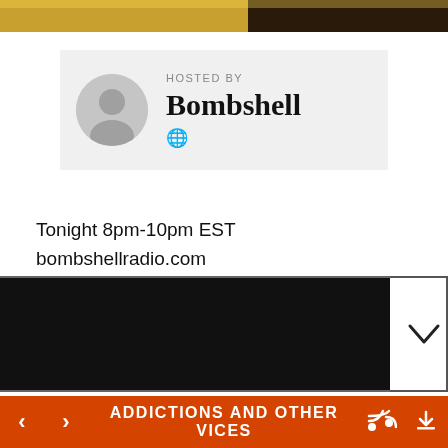[Figure (photo): Top banner image strip with dark and golden tones]
HOSTED BY
Bombshell
[Figure (illustration): Globe/web icon]
Tonight 8pm-10pm EST
bombshellradio.com
It's Friday and it's Showtime! Toinight New Indie finds, Previews of Just Another Menace Radio Replay artists coming up this weekend
[Figure (screenshot): Black video player bar with chevron on right]
ADDICTIONS AND OTHER VICES